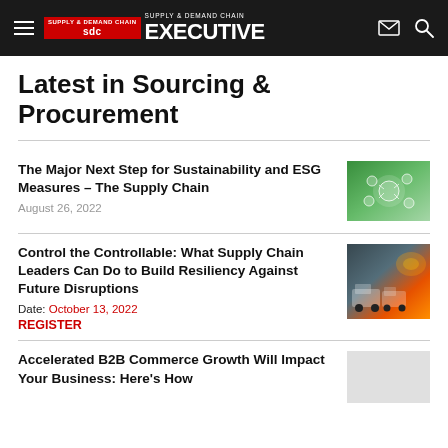SDC Supply & Demand Chain Executive
Latest in Sourcing & Procurement
The Major Next Step for Sustainability and ESG Measures – The Supply Chain
August 26, 2022
[Figure (photo): Hands holding a glowing green earth with sustainability icons]
Control the Controllable: What Supply Chain Leaders Can Do to Build Resiliency Against Future Disruptions
Date: October 13, 2022
REGISTER
[Figure (photo): Trucks and cargo containers at a port with dramatic sky]
Accelerated B2B Commerce Growth Will Impact Your Business: Here's How
[Figure (photo): Placeholder image for B2B Commerce article]